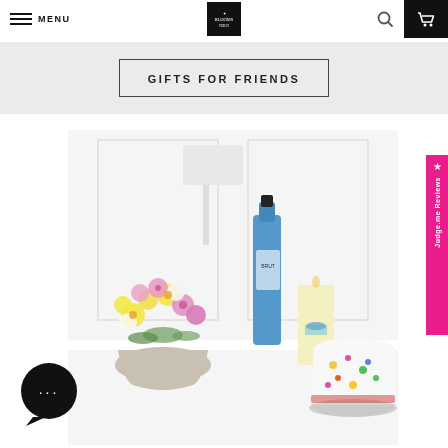MENU | Blooms logo | search | cart
GIFTS FOR FRIENDS
[Figure (photo): Product photo showing a floral arrangement in a vase with pink and yellow alstroemeria flowers, a blue champagne bottle, a cream candle with blue ribbon, and a white cake with colorful confetti decorations on a white surface against a white paneled wall background.]
★ Judge.me Reviews
[Figure (other): Chat support bubble icon (black circle with three dots indicating an active chat)]